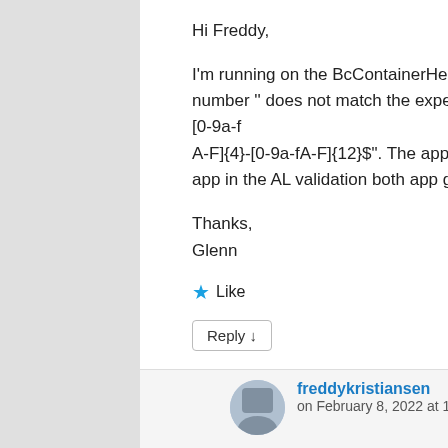Hi Freddy,
I'm running on the BcContainerHelper version 2.0.15 and I got an error AL1040 : The guid number '' does not match the expected pattern: "^[0-9a-fA-F]{8}-[0-9a-fA-F]{4}-[0-9a-fA-F]{4}-[0-9a-f A-F]{4}-[0-9a-fA-F]{12}$". The app is already published in the appsource I'm just adding library app in the AL validation both app getting the same error.
Thanks,
Glenn
Like
Reply ↓
freddykristiansen
on February 8, 2022 at 11:10 am